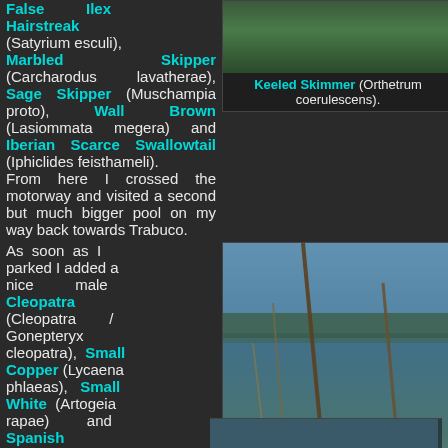False Ilex Hairstreak (Satyrium esculi), Marbled Skipper (Carcharodus lavatherae), Sage Skipper (Muschampia proto), Wall Brown (Lasiommata megera) and Iberian Scarce Swallowtail (Iphiclides feisthameli). From here I crossed the motorway and visited a second but much bigger pool on my way back towards Trabuco.
[Figure (photo): Photo of a Keeled Skimmer dragonfly on green foliage]
Keeled Skimmer (Orthetrum coerulescens).
As soon as I parked I added a nice male Cleopatra (Cleopatra / Gonepteryx cleopatra), Small Copper (Lycaena phlaeas), Small White (Artogeia rapae) and Spanish Gatekeeper (Pyronia bathsheba). Once I was down
[Figure (photo): Photo of a wetland pool with reeds and a Small Red-eyed dragonfly (Erythromma viridulum)]
Small Red-eyed (Erythromma viridulum).
[Figure (photo): Partial photo at the bottom of the page, cut off]